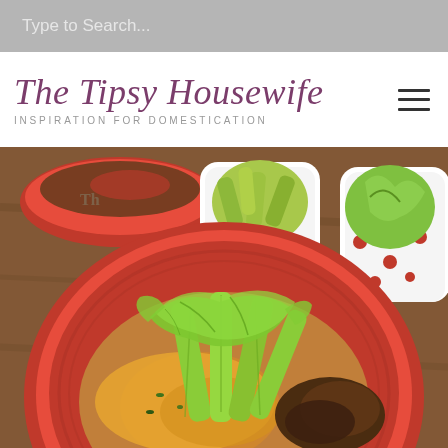Type to Search...
The Tipsy Housewife
INSPIRATION FOR DOMESTICATION
[Figure (photo): Food photo showing a red plate with a cheesy ground beef casserole topped with celery and lettuce leaves, with polka-dot cups containing pickles and lettuce in the background, and a red baking dish also visible]